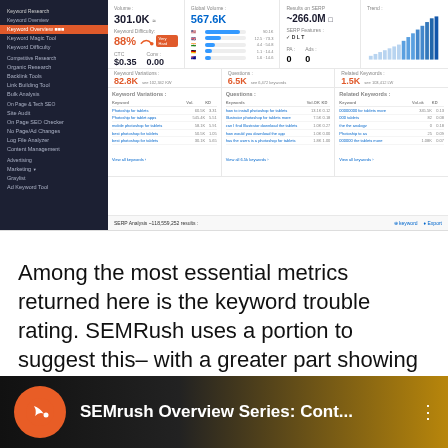[Figure (screenshot): SEMRush keyword overview dashboard showing metrics: Volume 301.0K, Global Volume 567.6K, Results on SERP ~266.0M, Keyword Difficulty 88% (Very Hard), CTC $0.35, Conv 0.00, trend bar chart, SERP Features, PA/LA 0, Keyword Variations 82.8K, Questions 6.5K, Related Keywords 1.5K, with tables of keyword data below.]
Among the most essential metrics returned here is the keyword trouble rating. SEMRush uses a portion to suggest this– with a greater part showing that it’s going to be harder to rank for a specific keyword.
[Figure (screenshot): Video thumbnail for SEMrush Overview Series: Cont... with orange circular logo icon and three-dot menu.]